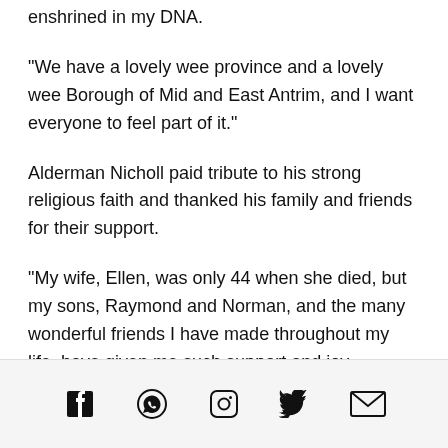enshrined in my DNA.
“We have a lovely wee province and a lovely wee Borough of Mid and East Antrim, and I want everyone to feel part of it.”
Alderman Nicholl paid tribute to his strong religious faith and thanked his family and friends for their support.
“My wife, Ellen, was only 44 when she died, but my sons, Raymond and Norman, and the many wonderful friends I have made throughout my life, have given me such support and joy.
[social media icons: Facebook, WhatsApp, Instagram, Twitter, Email]